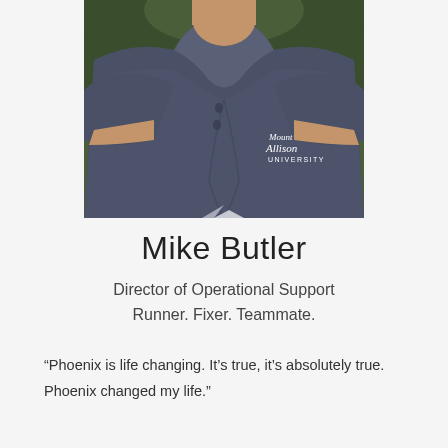[Figure (photo): Headshot photo of Mike Butler wearing a dark grey Mount Allison University polo shirt, photographed outdoors with green foliage in background.]
Mike Butler
Director of Operational Support
Runner. Fixer. Teammate.
“Phoenix is life changing. It’s true, it’s absolutely true. Phoenix changed my life.”